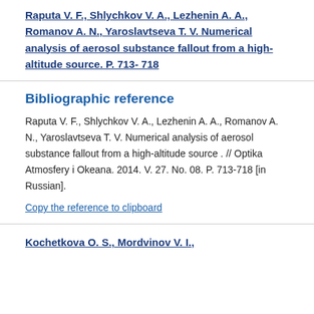Raputa V. F., Shlychkov V. A., Lezhenin A. A., Romanov A. N., Yaroslavtseva T. V. Numerical analysis of aerosol substance fallout from a high-altitude source. P. 713-718
Bibliographic reference
Raputa V. F., Shlychkov V. A., Lezhenin A. A., Romanov A. N., Yaroslavtseva T. V. Numerical analysis of aerosol substance fallout from a high-altitude source . // Optika Atmosfery i Okeana. 2014. V. 27. No. 08. P. 713-718 [in Russian].
Copy the reference to clipboard
Kochetkova O. S., Mordvinov V. I.,